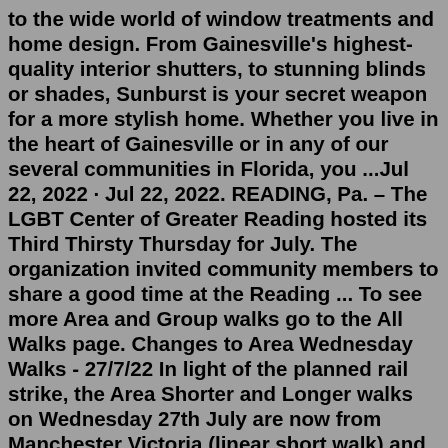to the wide world of window treatments and home design. From Gainesville's highest-quality interior shutters, to stunning blinds or shades, Sunburst is your secret weapon for a more stylish home. Whether you live in the heart of Gainesville or in any of our several communities in Florida, you ...Jul 22, 2022 · Jul 22, 2022. READING, Pa. – The LGBT Center of Greater Reading hosted its Third Thirsty Thursday for July. The organization invited community members to share a good time at the Reading ... To see more Area and Group walks go to the All Walks page. Changes to Area Wednesday Walks - 27/7/22 In light of the planned rail strike, the Area Shorter and Longer walks on Wednesday 27th July are now from Manchester Victoria (linear short walk) and Bury Metro (circular long walk), see the Area Walks page.Reading is a city in southeastern Pennsylvania, USA, and seat of Berks County. Reading is the principal city of the Greater Reading Area and had a population of 88,082 as of the 2010 census. It is the fifth most populated city in the state and the sixth...